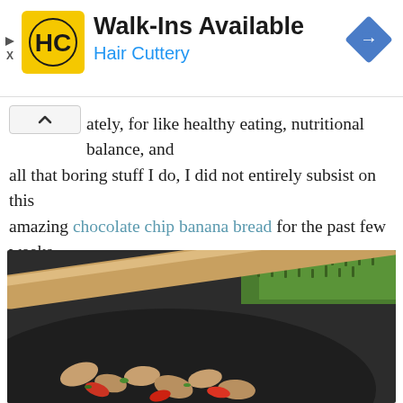[Figure (infographic): Hair Cuttery advertisement banner with yellow HC logo, 'Walk-Ins Available' heading, 'Hair Cuttery' subheading in blue, and a blue navigation diamond icon on the right. Play and X ad controls on the left.]
ately, for like healthy eating, nutritional balance, and all that boring stuff I do, I did not entirely subsist on this amazing chocolate chip banana bread for the past few weeks.
I've also been making a lot of these Skillet Chicken Fajitas.
[Figure (photo): Close-up photo of a dark skillet containing cooked chicken fajita ingredients (chicken strips, red peppers, green herbs) with a wooden spoon/spatula, and fresh chopped green herbs in the background.]